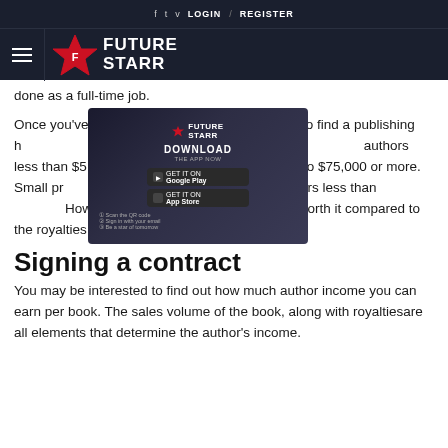f  t  v  LOGIN  /  REGISTER
[Figure (logo): Future Starr logo with star icon and text FUTURE STARR on dark navy background, with hamburger menu icon]
done as a full-time job.
Once you've esta... you'll need to find a publishing h... ount for your book. Traditional ... authors less than $5 per book but in... ay up to $75,000 or more. Small pr... ation for paying authors less than... However, the cost they charge is often worth it compared to the royalties they receive.
[Figure (screenshot): Future Starr app advertisement showing DOWNLOAD THE APP NOW with Google Play and App Store buttons and QR code steps]
Signing a contract
You may be interested to find out how much author income you can earn per book. The sales volume of the book, along with royaltiesare all elements that determine the author's income.